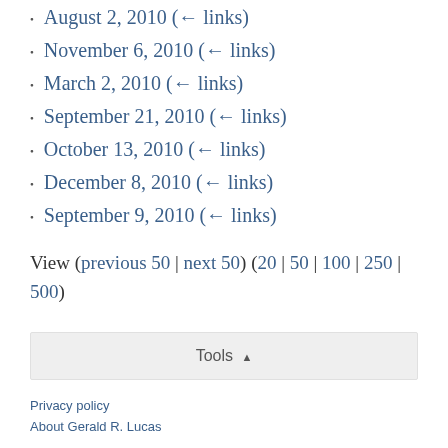August 2, 2010  (← links)
November 6, 2010  (← links)
March 2, 2010  (← links)
September 21, 2010  (← links)
October 13, 2010  (← links)
December 8, 2010  (← links)
September 9, 2010  (← links)
View (previous 50 | next 50) (20 | 50 | 100 | 250 | 500)
Tools ▲
Privacy policy
About Gerald R. Lucas